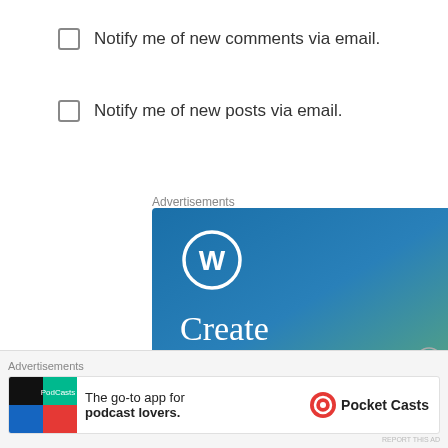Notify me of new comments via email.
Notify me of new posts via email.
Advertisements
[Figure (illustration): WordPress advertisement with gradient blue-green background. Shows the WordPress logo (W in a circle), text 'Create immersive stories.' in serif font, and 'GET THE APP' call to action button text.]
Advertisements
[Figure (illustration): Pocket Casts bottom banner ad: 'The go-to app for podcast lovers.' with Pocket Casts logo on the right.]